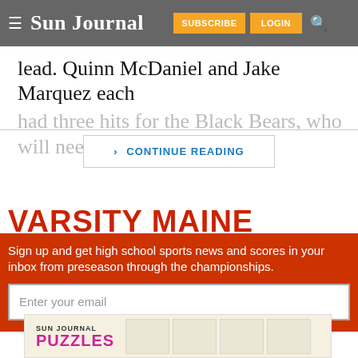Sun Journal | SUBSCRIBE | LOGIN
lead. Quinn McDaniel and Jake Marquez each had three hits for the Black Bears, who will need
CONTINUE READING
VARSITY MAINE
Sign up and get high school sports news and scores in your inbox from preseason through the championships.
Enter your email
[Figure (screenshot): Sun Journal Puzzles advertisement banner showing 'SUN JOURNAL PUZZLES' text with puzzle grid images in background]